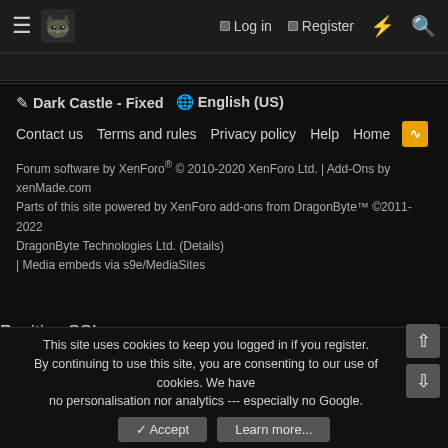≡ [cat icon] Log in  Register  ⚡ 🔍
✏ Dark Castle - Fixed   🌐 English (US)
Contact us   Terms and rules   Privacy policy   Help   Home   [RSS]
Forum software by XenForo® © 2010-2020 XenForo Ltd. | Add-Ons by xenMade.com
Parts of this site powered by XenForo add-ons from DragonByte™ ©2011-2022 DragonByte Technologies Ltd. (Details)
| Media embeds via s9e/MediaSites
Positive SSL
[Figure (other): QR code with cat logo in center on white background]
This site uses cookies to keep you logged in if you register.
By continuing to use this site, you are consenting to our use of cookies. We have no personalisation nor analytics --- especially no Google.
✓ Accept   Learn more...